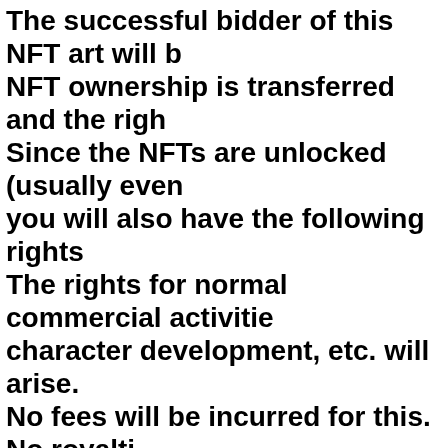The successful bidder of this NFT art will be... NFT ownership is transferred and the righ... Since the NFTs are unlocked (usually even... you will also have the following rights The rights for normal commercial activities character development, etc. will arise. No fees will be incurred for this. No royalti...
(Note: Only moral rights are attached to th... (If you wish to make alterations, please co...
2. we will also release images and video evi... So we are looking forward to receiving ma...
All funds will be donated. Where to Donate...
...to UNICEF, Red Cross, Beloved...